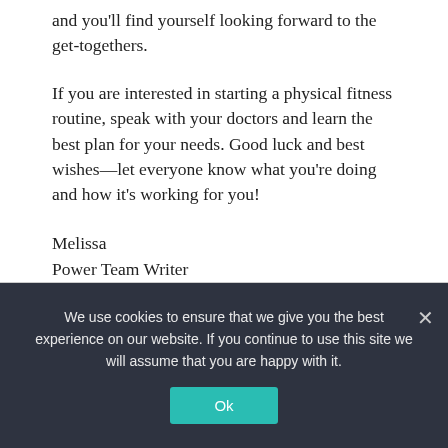and you'll find yourself looking forward to the get-togethers.
If you are interested in starting a physical fitness routine, speak with your doctors and learn the best plan for your needs. Good luck and best wishes—let everyone know what you're doing and how it's working for you!
Melissa
Power Team Writer
This article is intended to convey general educational information and should not be relied upon as a substitute for professional healthcare advice.
We use cookies to ensure that we give you the best experience on our website. If you continue to use this site we will assume that you are happy with it.